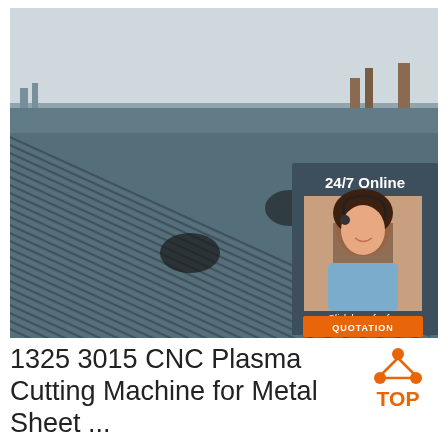[Figure (photo): Composite image showing stacked metal rebar/steel rods in a large outdoor industrial yard, with a customer service chat widget overlay in the upper right showing '24/7 Online', a smiling woman with a headset, 'Click here for free chat!' text, and an orange 'QUOTATION' button.]
1325 3015 CNC Plasma Cutting Machine for Metal Sheet ...
[Figure (logo): Orange 'TOP' logo badge with three orange dots forming a triangle above the word TOP in bold orange letters.]